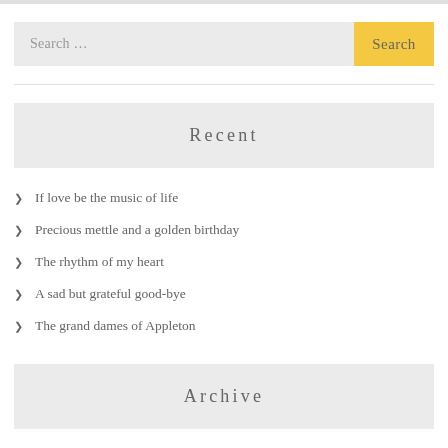Search …
Recent
If love be the music of life
Precious mettle and a golden birthday
The rhythm of my heart
A sad but grateful good-bye
The grand dames of Appleton
Archive